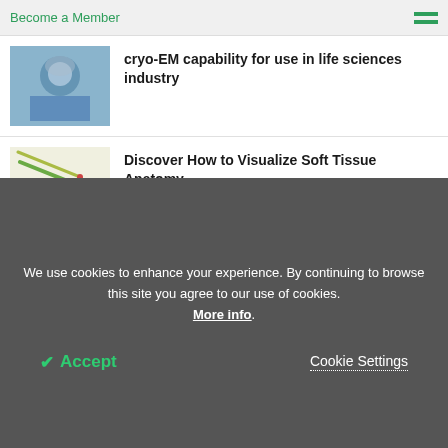Become a Member
cryo-EM capability for use in life sciences industry
Discover How to Visualize Soft Tissue Anatomy
FEI launches new Talos L120C S/TEM for use in life and materials sciences research
We use cookies to enhance your experience. By continuing to browse this site you agree to our use of cookies. More info.
✔ Accept
Cookie Settings